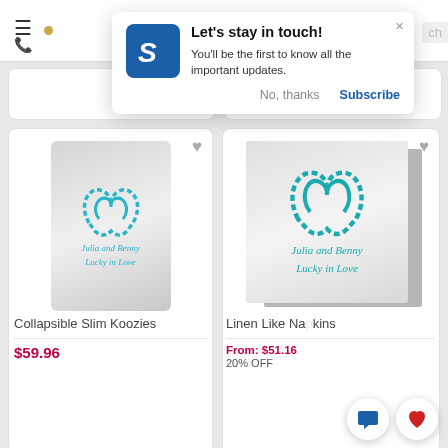[Figure (screenshot): Mobile e-commerce page showing a notification popup 'Let's stay in touch!' with two product cards below: Collapsible Slim Koozies at $59.96 and Linen Like Napkins From: $51.16 20% OFF]
Let's stay in touch!
You'll be the first to know all the important updates.
No, thanks
Subscribe
Collapsible Slim Koozies
$59.96
Linen Like Napkins
From: $51.16
20% OFF